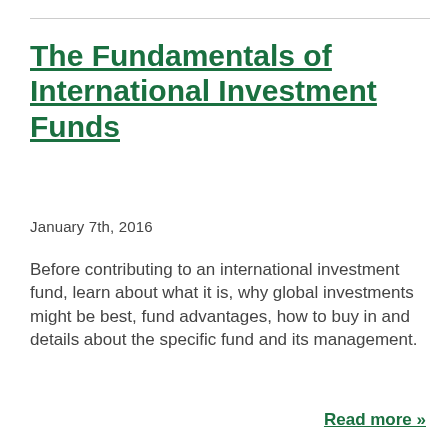The Fundamentals of International Investment Funds
January 7th, 2016
Before contributing to an international investment fund, learn about what it is, why global investments might be best, fund advantages, how to buy in and details about the specific fund and its management.
Read more »